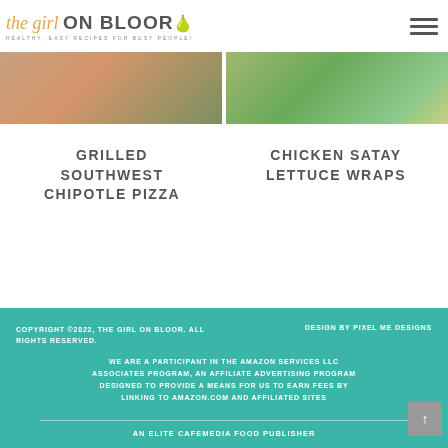THE GIRL ON BLOOR - HEALTHY, EASY RECIPES FOR BUSY PEOPLE!
[Figure (photo): Two food photos side by side: left is a grilled southwest chipotle pizza, right is chicken satay lettuce wraps]
GRILLED SOUTHWEST CHIPOTLE PIZZA
CHICKEN SATAY LETTUCE WRAPS
COPYRIGHT ©2022, THE GIRL ON BLOOR. ALL RIGHTS RESERVED. DESIGN BY PIXEL ME DESIGNS WE ARE A PARTICIPANT IN THE AMAZON SERVICES LLC ASSOCIATES PROGRAM, AN AFFILIATE ADVERTISING PROGRAM DESIGNED TO PROVIDE A MEANS FOR US TO EARN FEES BY LINKING TO AMAZON.COM AND AFFILIATED SITES AN ELITE CAFEMEDIA FOOD PUBLISHER